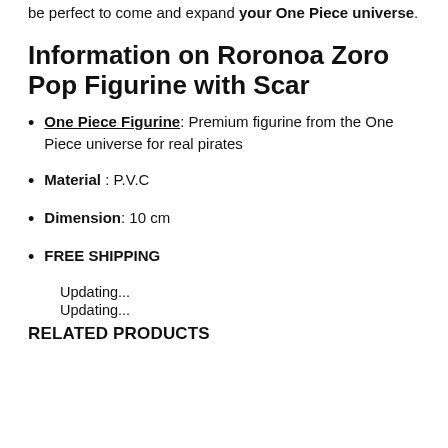be perfect to come and expand your One Piece universe.
Information on Roronoa Zoro Pop Figurine with Scar
One Piece Figurine: Premium figurine from the One Piece universe for real pirates
Material : P.V.C
Dimension: 10 cm
FREE SHIPPING
Updating...
Updating...
RELATED PRODUCTS